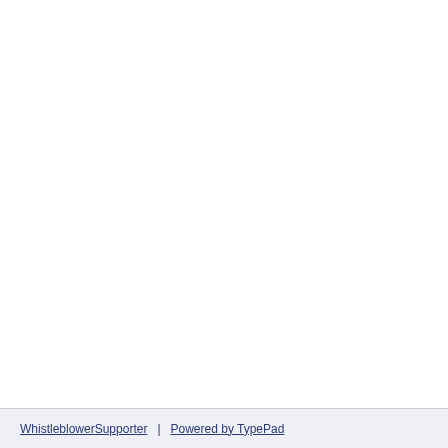WhistleblowerSupporter | Powered by TypePad